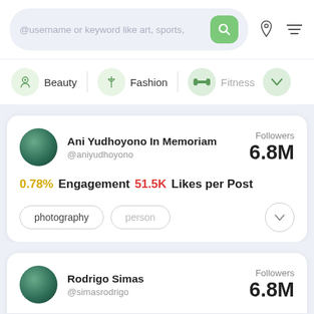[Figure (screenshot): Search bar with placeholder text '@username or keyword like art, sports,' and a green search button, location icon, and filter icon]
[Figure (screenshot): Category filter bar with Beauty, Fashion, and Fitness icons and labels, plus a chevron dropdown button]
Ani Yudhoyono In Memoriam @aniyudhoyono — Followers 6.8M — 0.78% Engagement 51.5K Likes per Post — Tags: photography, person
Rodrigo Simas @simasrodrigo — Followers 6.8M